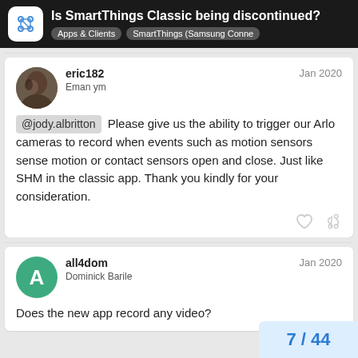Is SmartThings Classic being discontinued? Apps & Clients SmartThings (Samsung Conne
eric182
Eman ym
Jan 2020
@jody.albritton Please give us the ability to trigger our Arlo cameras to record when events such as motion sensors sense motion or contact sensors open and close. Just like SHM in the classic app. Thank you kindly for your consideration.
all4dom
Dominick Barile
Jan 2020
Does the new app record any video?
7 / 44